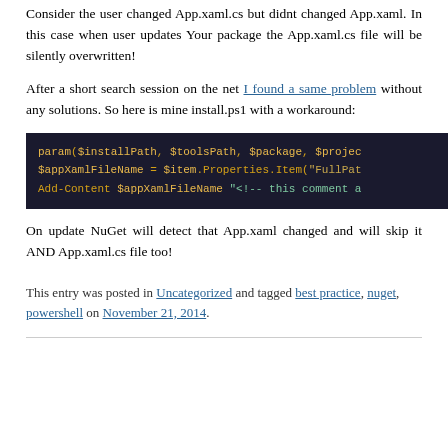Consider the user changed App.xaml.cs but didnt changed App.xaml. In this case when user updates Your package the App.xaml.cs file will be silently overwritten!
After a short search session on the net I found a same problem without any solutions. So here is mine install.ps1 with a workaround:
[Figure (screenshot): Dark code block showing PowerShell script: param($installPath, $toolsPath, $package, $projec... / $appXamlFileName = $item.Properties.Item("FullPat... / Add-Content $appXamlFileName "<!-- this comment a...]
On update NuGet will detect that App.xaml changed and will skip it AND App.xaml.cs file too!
This entry was posted in Uncategorized and tagged best practice, nuget, powershell on November 21, 2014.